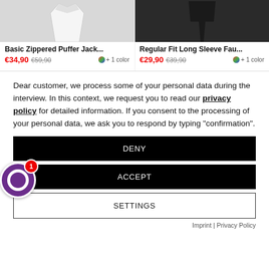[Figure (screenshot): Product listing showing two clothing items: Basic Zippered Puffer Jack... at €34,90 (orig €59,90) and Regular Fit Long Sleeve Fau... at €29,90 (orig €39,90), each with +1 color option]
Dear customer, we process some of your personal data during the interview. In this context, we request you to read our privacy policy for detailed information. If you consent to the processing of your personal data, we ask you to respond by typing "confirmation".
DENY
ACCEPT
SETTINGS
Imprint | Privacy Policy